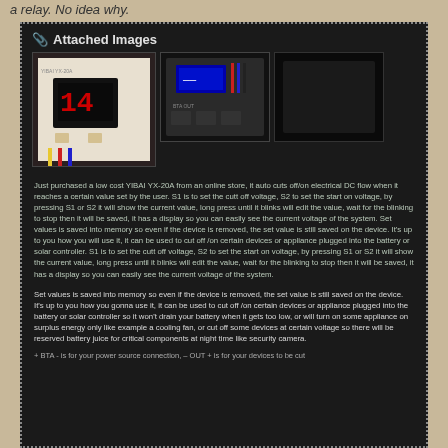a relay. No idea why.
📎 Attached Images
[Figure (photo): Two photos of the YIBAI YX-20A device: left photo shows the device with a red LED display showing '14', right photo shows a black module with blue display and wiring]
Just purchased a low cost YIBAI YX-20A from an online store, it auto cuts off/on electrical DC flow when it reaches a certain value set by the user. S1 is to set the cutt off voltage, S2 to set the start on voltage, by pressing S1 or S2 it will show the current value, long press until it blinks will edit the value, wait for the blinking to stop then it will be saved, it has a display so you can easily see the current voltage of the system. Set values is saved into memory so even if the device is removed, the set value is still saved on the device. It's up to you how you will use it, it can be used to cut off /on certain devices or appliance plugged into the battery or solar controller. S1 is to set the cutt off voltage, S2 to set the start on voltage, by pressing S1 or S2 it will show the current value, long press until it blinks will edit the value, wait for the blinking to stop then it will be saved, it has a display so you can easily see the current voltage of the system.
Set values is saved into memory so even if the device is removed, the set value is still saved on the device. It's up to you how you gonna use it, it can be used to cut off /on certain devices or appliance plugged into the battery or solar controller so it won't drain your battery when it gets too low, or will turn on some appliance on surplus energy only like example a cooling fan, or cut off some devices at certain voltage so there will be reserved battery juice for critical components at night time like security camera.
+ BTA - is for your power source connection, – OUT + is for your devices to be cut